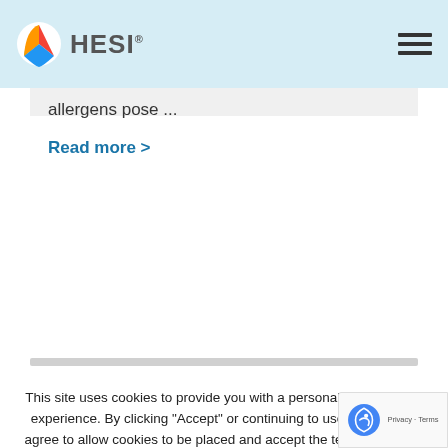HESI
allergens pose ...
Read more >
This site uses cookies to provide you with a personalized browsing experience. By clicking “Accept” or continuing to use the site you agree to allow cookies to be placed and accept the terms set out in our [Privacy Notice]. Please read the Privacy Notice for more information on how we handle information collected from users and how you can control the use information.
Cookie settings
ACCEPT